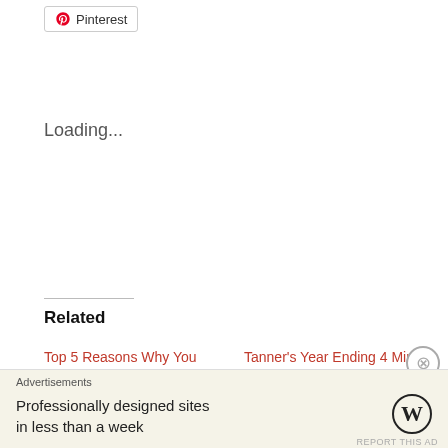[Figure (screenshot): Pinterest share button]
Loading...
Related
Top 5 Reasons Why You Should Only Play Independent Video Games
July 20, 2014
In "List Reviews"
Tanner's Year Ending 4 Mini Reviews (Rage, Watch Dogs, Elder Scrolls Online, A Winter's Tale)
December 24, 2014
In "Film Reviews"
The Worst Video Games of 2013
January 5, 2014
Advertisements
Professionally designed sites in less than a week